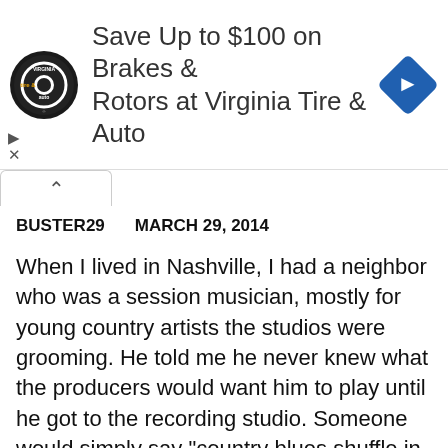[Figure (other): Advertisement banner: Virginia Tire & Auto logo on left, blue diamond navigation icon on right, text 'Save Up to $100 on Brakes & Rotors at Virginia Tire & Auto']
BUSTER29    MARCH 29, 2014
When I lived in Nashville, I had a neighbor who was a session musician, mostly for young country artists the studios were grooming. He told me he never knew what the producers would want him to play until he got to the recording studio. Someone would simply say "country blues shuffle in A" and the band would just start going. They all knew what was required to lay down a basic track in that style. Later on, my neighbor would go back and add a